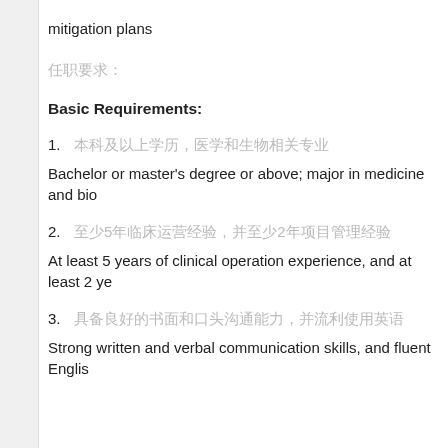mitigation plans
任职要求:
Basic Requirements:
1. 本科及以上学历，医学和生物相关专业
Bachelor or master's degree or above; major in medicine and bio
2. 至少5年临床运营经验，并至少2年项目管理经验
At least 5 years of clinical operation experience, and at least 2 ye
3. 具备良好的书面和口头沟通能力，并流利使用英语
Strong written and verbal communication skills, and fluent Englis